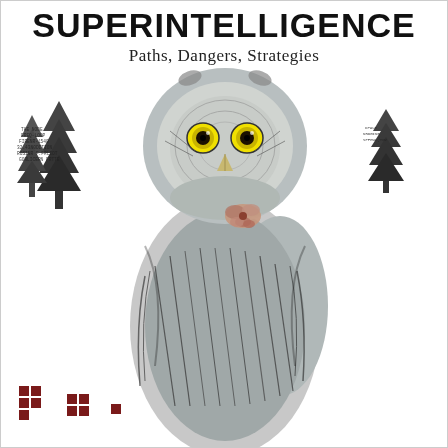SUPERINTELLIGENCE
Paths, Dangers, Strategies
[Figure (illustration): Detailed artistic illustration of a Great Grey Owl with intricate feather patterns, yellow eyes, and a small floral ornament at its chest, centered on the book cover. In the upper-left and upper-right corners are stylized tree silhouettes made of typographic characters. In the lower-left corner are two small groups of dark red/maroon pixel-art checkerboard squares.]